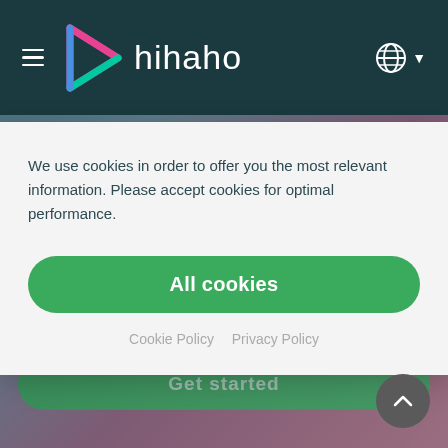[Figure (screenshot): Hihaho website navigation bar with dark teal background, hamburger menu icon on left, Hihaho logo (triangular play icon in pink/green/blue and white text 'hihaho'), and globe/language icon on right]
We use cookies in order to offer you the most relevant information. Please accept cookies for optimal performance.
All cookies
Cookie Policy   Privacy Policy